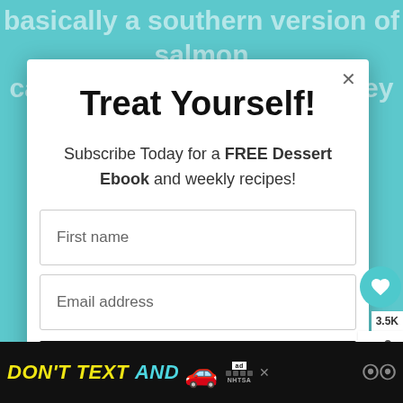basically a southern version of salmon cakes or salmon patties. They can be
Treat Yourself!
Subscribe Today for a FREE Dessert Ebook and weekly recipes!
First name
Email address
Subscribe
3.5K
WHAT'S NEXT → Cajun Salmon Cakes
[Figure (screenshot): Advertisement banner: DON'T TEXT AND [car emoji] ad with NHTSA logo on black background]